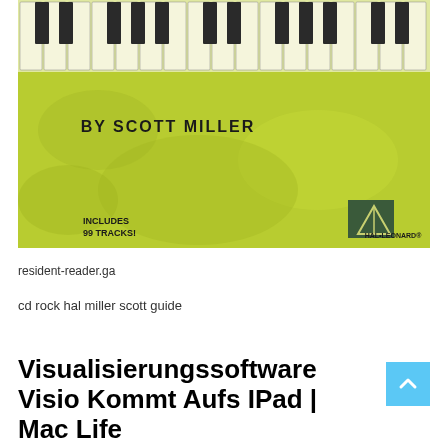[Figure (photo): Book cover showing piano keys at top on a yellow-green background. Text reads 'BY SCOTT MILLER', 'INCLUDES 99 TRACKS!', and Hal Leonard logo at bottom right.]
resident-reader.ga
cd rock hal miller scott guide
Visualisierungssoftware Visio Kommt Aufs IPad | Mac Life